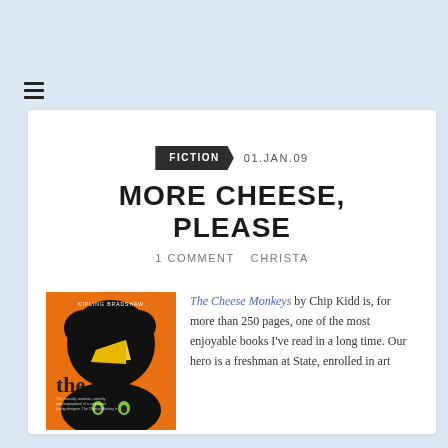≡ (hamburger menu)
FICTION   01.JAN.09
MORE CHEESE, PLEASE
1 COMMENT   CHRISTA
[Figure (illustration): Book cover of The Cheese Monkeys by Chip Kidd — orange background with a large black ink blot shape and a yellow cheese-wedge graphic, plus smaller text and imagery]
The Cheese Monkeys by Chip Kidd is, for more than 250 pages, one of the most enjoyable books I've read in a long time. Our hero is a freshman at State, enrolled in art